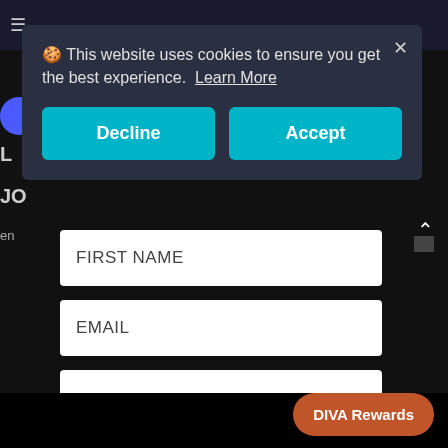[Figure (screenshot): Website screenshot showing a cookie consent overlay dialog with 'Decline' and 'Accept' buttons on a dark-themed page, with form fields for FIRST NAME and EMAIL, a GET MY CODE button, and a DIVA Rewards button.]
🍪 This website uses cookies to ensure you get the best experience. Learn More
Decline
Accept
skincare tips and much more.
FIRST NAME
EMAIL
GET MY CODE
DIVA Rewards